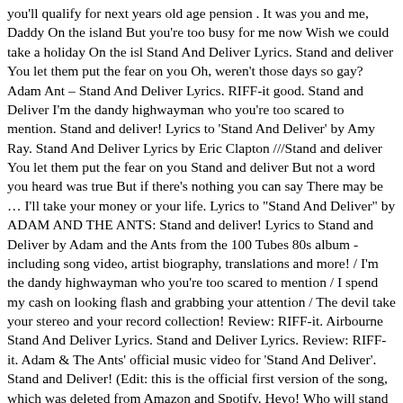you'll qualify for next years old age pension . It was you and me, Daddy On the island But you're too busy for me now Wish we could take a holiday On the isl Stand And Deliver Lyrics. Stand and deliver You let them put the fear on you Oh, weren't those days so gay? Adam Ant – Stand And Deliver Lyrics. RIFF-it good. Stand and Deliver I'm the dandy highwayman who you're too scared to mention. Stand and deliver! Lyrics to 'Stand And Deliver' by Amy Ray. Stand And Deliver Lyrics by Eric Clapton ///Stand and deliver You let them put the fear on you Stand and deliver But not a word you heard was true But if there's nothing you can say There may be … I'll take your money or your life. Lyrics to "Stand And Deliver" by ADAM AND THE ANTS: Stand and deliver! Lyrics to Stand and Deliver by Adam and the Ants from the 100 Tubes 80s album - including song video, artist biography, translations and more! / I'm the dandy highwayman who you're too scared to mention / I spend my cash on looking flash and grabbing your attention / The devil take your stereo and your record collection! Review: RIFF-it. Airbourne Stand And Deliver Lyrics. Stand and Deliver Lyrics. Review: RIFF-it. Adam & The Ants' official music video for 'Stand And Deliver'. Stand and Deliver! (Edit: this is the official first version of the song, which was deleted from Amazon and Spotify. Heyo! Who will stand up for the weak. The Jezabels - Stand And Deliver Lyrics. Artist: Steep Canyon Rangers. lyricsfa July 13, 2018 Stand and Deliver by Patrick Droney . Lyrics to Stand and Deliver by Adam Ant from the Antmusic: The Very Best of Adam Ant album - including song video, artist biography, translations and more! Stand and deliver your money or your life! Stand And Deliver Lyrics. Lyrics to 'Stand and Deliver' by Steep Canyon Rangers. Yes, mine is the voice that will speak. Do you